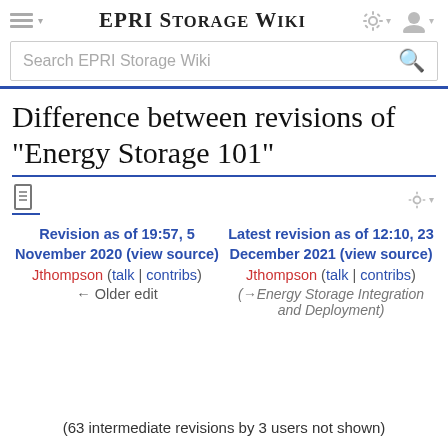EPRI Storage Wiki
Difference between revisions of "Energy Storage 101"
Revision as of 19:57, 5 November 2020 (view source)
Jthompson (talk | contribs)
← Older edit
Latest revision as of 12:10, 23 December 2021 (view source)
Jthompson (talk | contribs)
(→Energy Storage Integration and Deployment)
(63 intermediate revisions by 3 users not shown)